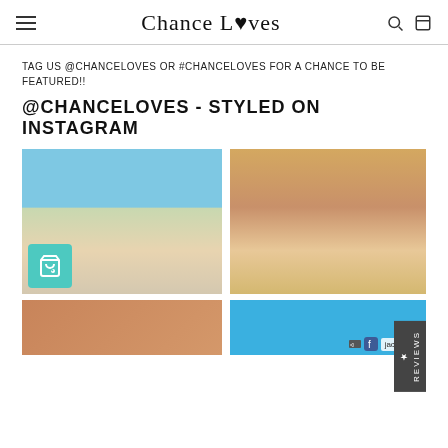Chance Loves
TAG US @CHANCELOVES or #CHANCELOVES FOR A CHANCE TO BE FEATURED!!
@CHANCELOVES - STYLED ON INSTAGRAM
[Figure (photo): Girl in pink bikini on beach]
[Figure (photo): Three girls in bikinis on beach at sunset]
[Figure (photo): Partial photo bottom left]
[Figure (photo): Blue background with Instagram tag jackydejo]